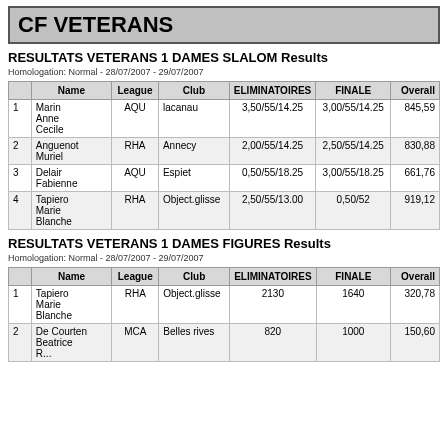CF VETERANS
RESULTATS VETERANS 1 DAMES SLALOM Results
Homologation: Normal - 28/07/2007 - 29/07/2007
|  | Name | League | Club | ELIMINATOIRES | FINALE | Overall |
| --- | --- | --- | --- | --- | --- | --- |
| 1 | Marin Anne Cecile | AQU | lacanau | 3,50/55/14.25 | 3,00/55/14.25 | 845,59 |
| 2 | Anguenot Muriel | RHA | Annecy | 2,00/55/14.25 | 2,50/55/14.25 | 830,88 |
| 3 | Delair Fabienne | AQU | Espiet | 0,50/55/18.25 | 3,00/55/18.25 | 661,76 |
| 4 | Tapiero Marie Blanche | RHA | Object.glisse | 2,50/55/13.00 | 0,50/52 | 919,12 |
RESULTATS VETERANS 1 DAMES FIGURES Results
Homologation: Normal - 28/07/2007 - 29/07/2007
|  | Name | League | Club | ELIMINATOIRES | FINALE | Overall |
| --- | --- | --- | --- | --- | --- | --- |
| 1 | Tapiero Marie Blanche | RHA | Object.glisse | 2130 | 1640 | 320,78 |
| 2 | De Courten Beatrice R... | MCA | Belles rives | 820 | 1000 | 150,60 |